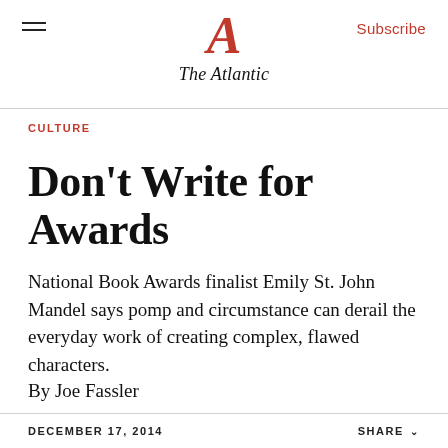The Atlantic
CULTURE
Don't Write for Awards
National Book Awards finalist Emily St. John Mandel says pomp and circumstance can derail the everyday work of creating complex, flawed characters.
By Joe Fassler
DECEMBER 17, 2014   SHARE